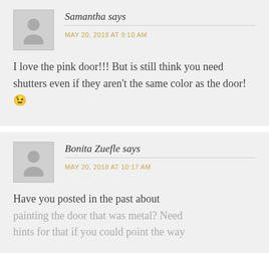Samantha says
MAY 20, 2018 AT 9:10 AM
I love the pink door!!! But is still think you need shutters even if they aren't the same color as the door! 😉
Bonita Zuefle says
MAY 20, 2018 AT 10:17 AM
Have you posted in the past about painting the door that was metal? Need hints for that if you could point the way